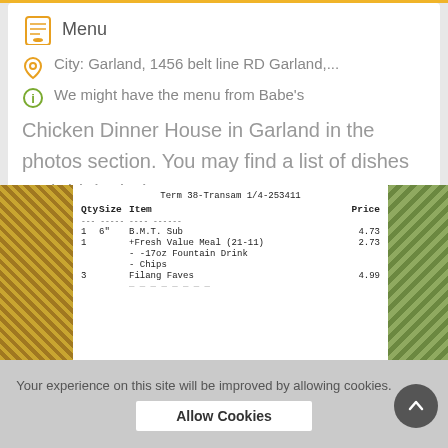Menu
City: Garland, 1456 belt line RD Garland,...
We might have the menu from Babe's Chicken Dinner House in Garland in the photos section. You may find a list of dishes and drinks below. Are you curr...
Details
[Figure (photo): A receipt showing items: 1 6" B.M.T. Sub 4.73, 1 Fresh Value Meal (21-11) 2.73, - 17oz Fountain Drink, - Chips, 3 Filang Faves 4.99, flanked by textured food photos on left and right]
Your experience on this site will be improved by allowing cookies.
Allow Cookies